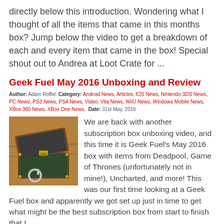directly below this introduction. Wondering what I thought of all the items that came in this months box? Jump below the video to get a breakdown of each and every item that came in the box! Special shout out to Andrea at Loot Crate for ...
Geek Fuel May 2016 Unboxing and Review
Author: Adam Roffel Category: Android News, Articles, IOS News, Nintendo 3DS News, PC News, PS3 News, PS4 News, Video, Vita News, WiiU News, Windows Mobile News, XBox 360 News, XBox One News, Date: 31st May, 2016
[Figure (photo): Photo of an open small decorative chest/box with a ring keychain sitting on a wooden surface]
We are back with another subscription box unboxing video, and this time it is Geek Fuel's May 2016 box with items from Deadpool, Game of Thrones (unfortunately not in mine!), Uncharted, and more! This was our first time looking at a Geek Fuel box and apparently we got set up just in time to get what might be the best subscription box from start to finish that I